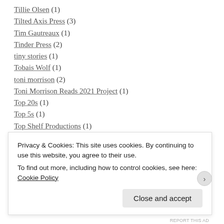Tillie Olsen (1)
Tilted Axis Press (3)
Tim Gautreaux (1)
Tinder Press (2)
tiny stories (1)
Tobais Wolf (1)
toni morrison (2)
Toni Morrison Reads 2021 Project (1)
Top 20s (1)
Top 5s (1)
Top Shelf Productions (1)
Top10s (8)
TOR Books (6)
Privacy & Cookies: This site uses cookies. By continuing to use this website, you agree to their use. To find out more, including how to control cookies, see here: Cookie Policy
Close and accept